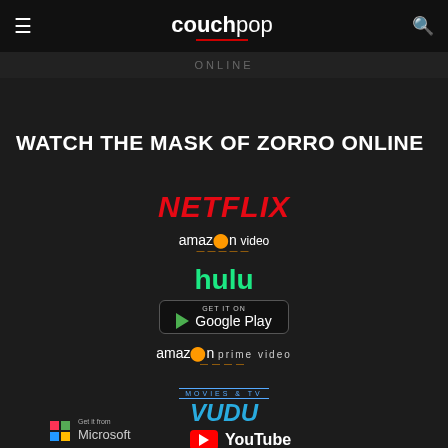couchpop
WATCH THE MASK OF ZORRO ONLINE
[Figure (logo): Netflix logo in red italic text]
[Figure (logo): Amazon Video logo with orange dot and arrow]
[Figure (logo): Hulu logo in green text]
[Figure (logo): Google Play store badge with play triangle]
[Figure (logo): Amazon Prime Video logo]
[Figure (logo): Vudu Movies & TV logo in blue]
[Figure (logo): Microsoft colorful grid logo with Get it from text]
[Figure (logo): YouTube logo red icon with white play button]